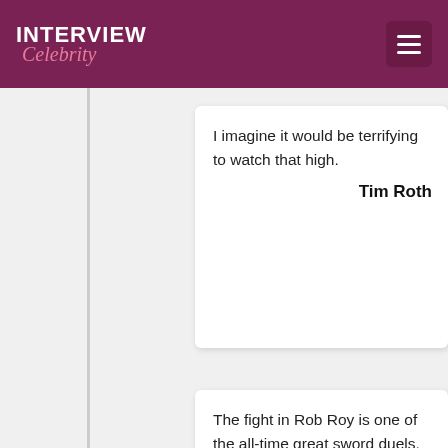INTERVIEW Celebrity
I imagine it would be terrifying to watch that high.
Tim Roth
The fight in Rob Roy is one of the all-time great sword duels. How much practice went into it and how exhausting was it to film?
Taraalcar
I think we worked on that fight (it was two fights and one was cut down a bit) I think we spent about three or four months working on it.
Whenever I wasn't required on set, I would go and practice going through the moves. It was